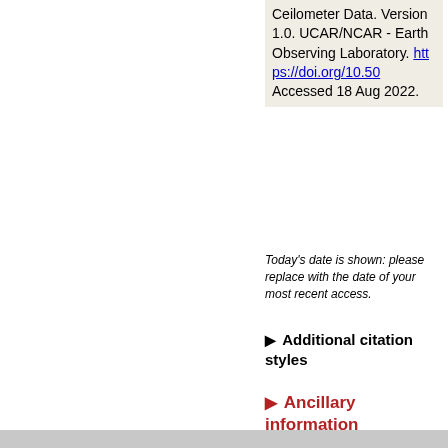Ceilometer Data. Version 1.0. UCAR/NCAR - Earth Observing Laboratory. https://doi.org/10.50... Accessed 18 Aug 2022.
Today's date is shown: please replace with the date of your most recent access.
▶Additional citation styles
▶Ancillary information